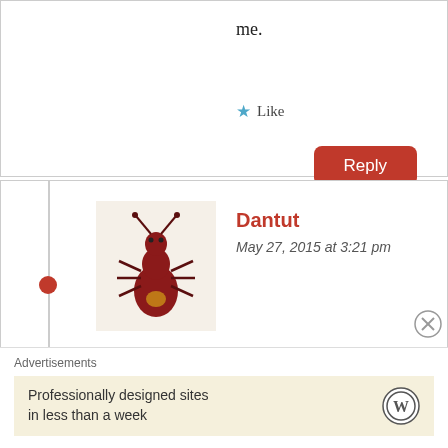me.
★ Like
Reply
Dantut
May 27, 2015 at 3:21 pm
[Figure (illustration): Ant cartoon avatar on beige background]
Adut, I have a simple answer to your question regarding the Khartoum peaceagreement signed by Dr.Riek in 1977. Riek Machar was signed peaceagreement with Khartoum
Advertisements
Professionally designed sites in less than a week